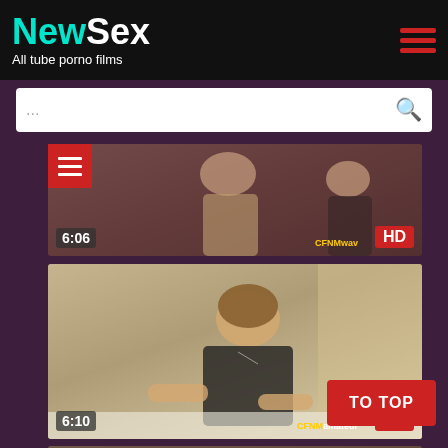NewSex - All tube porno films
[Figure (screenshot): Search bar with placeholder dots and search icon]
[Figure (screenshot): Video thumbnail 1 with duration 6:06, HD badge, CFNMwav watermark]
[Figure (screenshot): Video thumbnail 2 with duration 6:10, HD badge, CFNMamateur watermark, woman in black top with cross necklace]
[Figure (screenshot): Video thumbnail 3 partial view, man lying down]
TO TOP